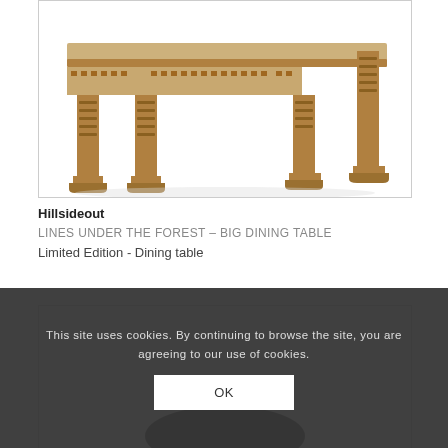[Figure (photo): Photo of a long wooden dining table with ornate carved legs and decorative apron, shown against a white background. The table has a rustic natural wood finish with detailed craftsmanship.]
Hillsideout
LINES UNDER THE FOREST – BIG DINING TABLE
Limited Edition - Dining table
[Figure (photo): Partially visible second product photo, mostly obscured by the cookie consent overlay. Shows a dark object at the bottom.]
This site uses cookies. By continuing to browse the site, you are agreeing to our use of cookies.
OK